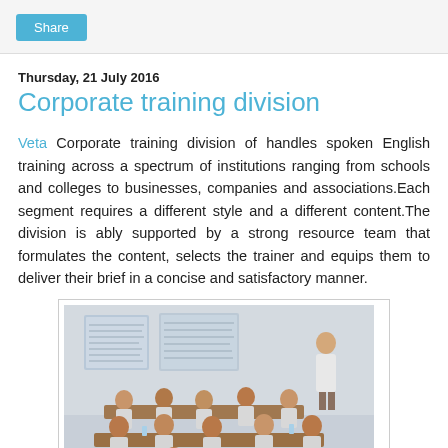Share
Thursday, 21 July 2016
Corporate training division
Veta Corporate training division of handles spoken English training across a spectrum of institutions ranging from schools and colleges to businesses, companies and associations.Each segment requires a different style and a different content.The division is ably supported by a strong resource team that formulates the content, selects the trainer and equips them to deliver their brief in a concise and satisfactory manner.
[Figure (photo): Classroom training session with students seated at desks and a trainer standing at the front near a presentation board.]